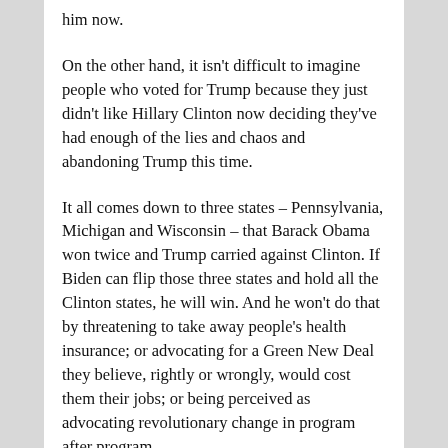him now.
On the other hand, it isn't difficult to imagine people who voted for Trump because they just didn't like Hillary Clinton now deciding they've had enough of the lies and chaos and abandoning Trump this time.
It all comes down to three states – Pennsylvania, Michigan and Wisconsin – that Barack Obama won twice and Trump carried against Clinton. If Biden can flip those three states and hold all the Clinton states, he will win. And he won't do that by threatening to take away people's health insurance; or advocating for a Green New Deal they believe, rightly or wrongly, would cost them their jobs; or being perceived as advocating revolutionary change in program after program.
As he has said he would do, Biden must pay attention to the voices from the far left, but he shouldn't